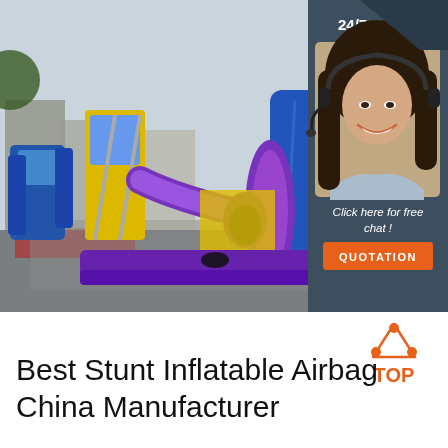[Figure (photo): Large inflatable obstacle course with blue, purple, and yellow sections photographed outdoors on a paved area. Buildings and trees visible in background. Overlaid with a chat agent sidebar panel showing a woman with a headset, '24/7 Online' text, 'Click here for free chat!' message, and an orange QUOTATION button.]
[Figure (logo): Orange 'TOP' badge logo with triangle dots above the text]
Best Stunt Inflatable Airbag China Manufacturer